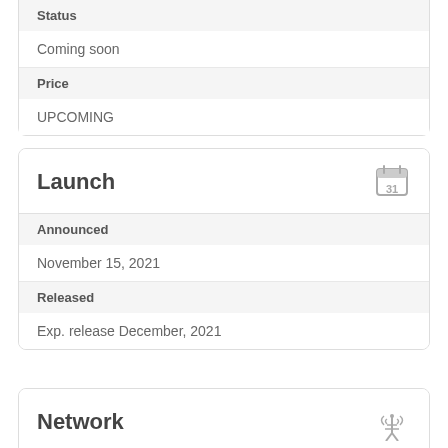| Status |
| --- |
| Coming soon |
| Price |
| --- |
| UPCOMING |
Launch
| Announced | Released |
| --- | --- |
| November 15, 2021 | Exp. release December, 2021 |
Network